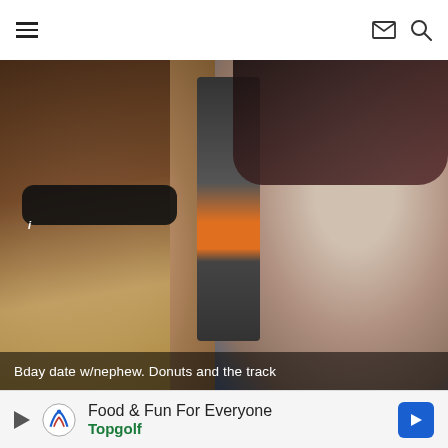Navigation header with hamburger menu, mail icon, and search icon
[Figure (photo): Selfie photo of a woman with sunglasses and long dark highlighted hair laughing, sitting in a car next to a young boy in a car seat. Snapchat-style caption overlay at the bottom reads: 'Bday date w/nephew. Donuts and the track']
Bday date w/nephew. Donuts and the track
[Figure (infographic): Advertisement banner for Topgolf: 'Food & Fun For Everyone' with Topgolf logo and blue arrow button]